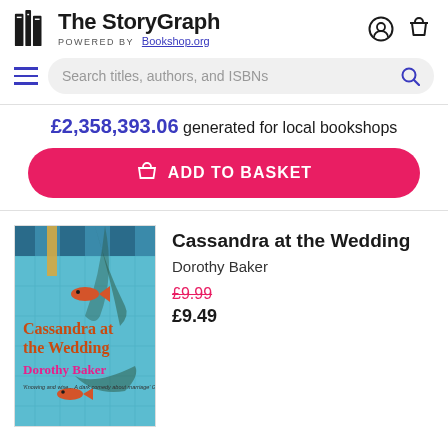The StoryGraph — POWERED BY Bookshop.org
Search titles, authors, and ISBNs
£2,358,393.06 generated for local bookshops
ADD TO BASKET
[Figure (illustration): Book cover of 'Cassandra at the Wedding' by Dorothy Baker. Cover shows a tiled swimming pool scene with orange/red fish and palm leaf shadows. Title text in orange reads 'Cassandra at the Wedding', author name in pink 'Dorothy Baker'. Quote at bottom reads 'Knowing and wise... A dark comedy about marriage' Guardian.]
Cassandra at the Wedding
Dorothy Baker
£9.99
£9.49